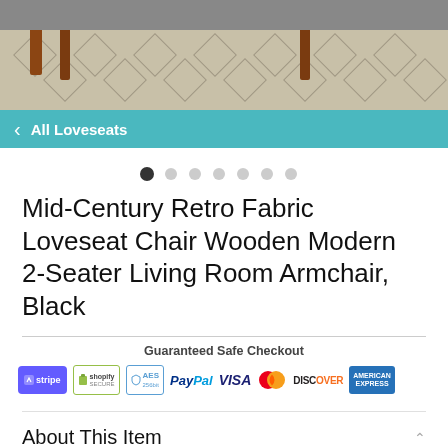[Figure (photo): Top portion of a furniture product photo showing wooden legs and a rug with geometric pattern]
All Loveseats
[Figure (other): Carousel dot indicators, 7 dots with first one active]
Mid-Century Retro Fabric Loveseat Chair Wooden Modern 2-Seater Living Room Armchair, Black
Guaranteed Safe Checkout
[Figure (other): Payment icons: Stripe, Shopify Secure, AES 256bit, PayPal, VISA, Mastercard, Discover, American Express]
About This Item
Introductions